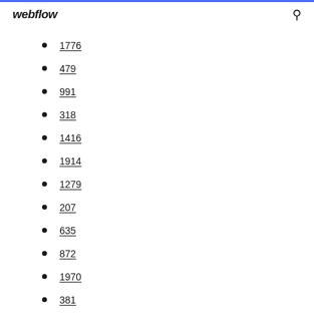webflow
1776
479
991
318
1416
1914
1279
207
635
872
1970
381